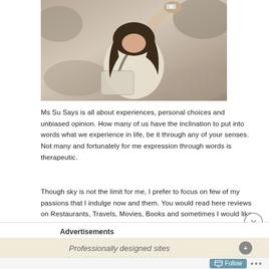[Figure (photo): Photograph of a woman looking down, wearing a white outfit and watch, with a bag, taken from above against a textured background]
Ms Su Says is all about experiences, personal choices and unbiased opinion. How many of us have the inclination to put into words what we experience in life, be it through any of your senses. Not many and fortunately for me expression through words is therapeutic.
Though sky is not the limit for me, I prefer to focus on few of my passions that I indulge now and them. You would read here reviews on Restaurants, Travels, Movies, Books and sometimes I would like to throw a curveball and direct my focus on healthy home cooking videos/pictures. This is a safe
Advertisements
Professionally designed sites